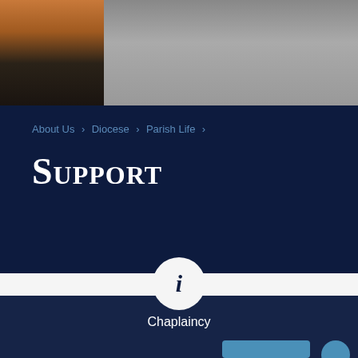[Figure (photo): Partial photo of a person wearing an orange and black jacket, against a grey background. Only the torso and lower portion visible.]
About Us > Diocese > Parish Life >
Support
[Figure (infographic): White circle with dark italic 'i' information icon, labeled 'Chaplaincy' below, on a dark navy background. A partial blue button and blue circle are visible at the bottom right.]